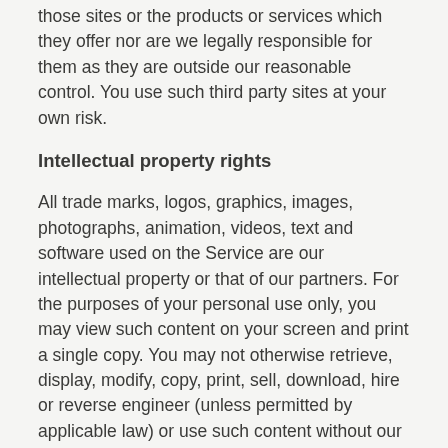those sites or the products or services which they offer nor are we legally responsible for them as they are outside our reasonable control. You use such third party sites at your own risk.
Intellectual property rights
All trade marks, logos, graphics, images, photographs, animation, videos, text and software used on the Service are our intellectual property or that of our partners. For the purposes of your personal use only, you may view such content on your screen and print a single copy. You may not otherwise retrieve, display, modify, copy, print, sell, download, hire or reverse engineer (unless permitted by applicable law) or use such content without our specific prior written consent.
You must not reverse-engineer or decompile any of our software in any way (except to the extent allowed by applicable law). You must not create or use a